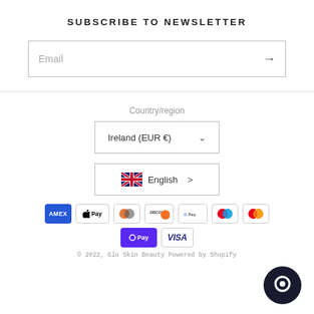SUBSCRIBE TO NEWSLETTER
Email
Country/region
Ireland (EUR €)
English
[Figure (infographic): Payment method icons: AMEX, Apple Pay, Diners Club, Discover, Google Pay, Maestro, Mastercard, O Pay, Visa]
© 2022, Glo Skin Beauty Powered by Shopify